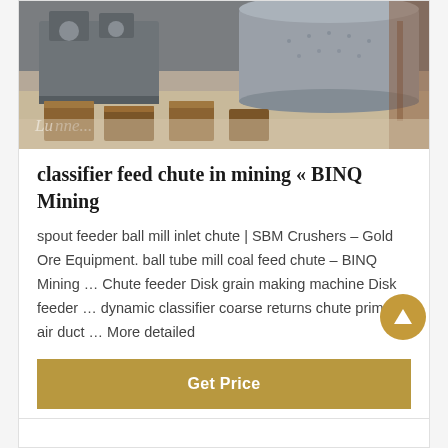[Figure (photo): Industrial mining equipment photo showing large ball mill machinery with grey metal drums, brown wooden support stands/pallets, in a warehouse or factory floor setting. A watermark partially reading 'Lu...' is visible in the lower left.]
classifier feed chute in mining &#171; BINQ Mining
spout feeder ball mill inlet chute | SBM Crushers – Gold Ore Equipment. ball tube mill coal feed chute – BINQ Mining … Chute feeder Disk grain making machine Disk feeder … dynamic classifier coarse returns chute primary air duct … More detailed